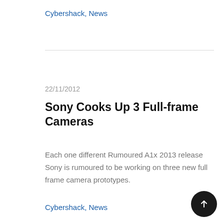Cybershack, News
22/11/2012
Sony Cooks Up 3 Full-frame Cameras
Each one different Rumoured A1x 2013 release Sony is rumoured to be working on three new full frame camera prototypes.
Cybershack, News